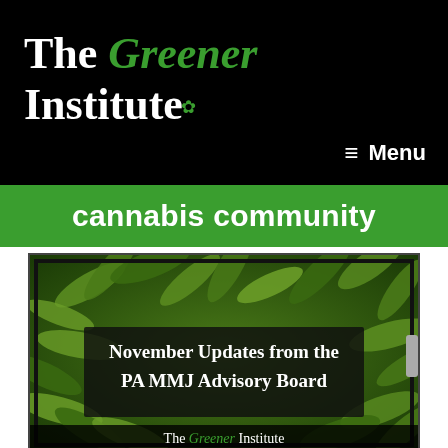The Greener Institute
Menu
cannabis community
[Figure (photo): Cannabis leaves background with a dark overlay box containing text 'November Updates from the PA MMJ Advisory Board' and a footer watermark reading 'The Greener Institute']